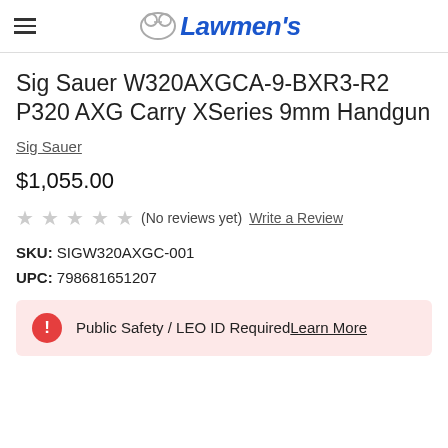Lawmen's
Sig Sauer W320AXGCA-9-BXR3-R2 P320 AXG Carry XSeries 9mm Handgun
Sig Sauer
$1,055.00
(No reviews yet) Write a Review
SKU: SIGW320AXGC-001
UPC: 798681651207
Public Safety / LEO ID Required Learn More